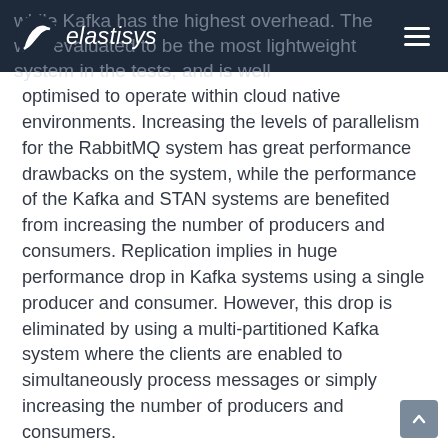elastisys
while Kafka has the highest overhead. The [system] was evaluated to be the most lightweight system in the tests, and is well optimised to operate within cloud native environments. Increasing the levels of parallelism for the RabbitMQ system has great performance drawbacks on the system, while the performance of the Kafka and STAN systems are benefited from increasing the number of producers and consumers. Replication implies in huge performance drop in Kafka systems using a single producer and consumer. However, this drop is eliminated by using a multi-partitioned Kafka system where the clients are enabled to simultaneously process messages or simply increasing the number of producers and consumers.